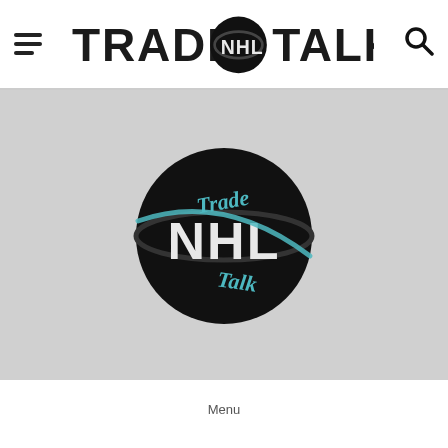Trade NHL Talk — website header with hamburger menu, logo, and search icon
[Figure (logo): Trade NHL Talk logo — large circular black puck emblem with 'Trade' and 'Talk' in teal script and 'NHL' in distressed block letters, centered in a gray advertisement/content area]
Menu